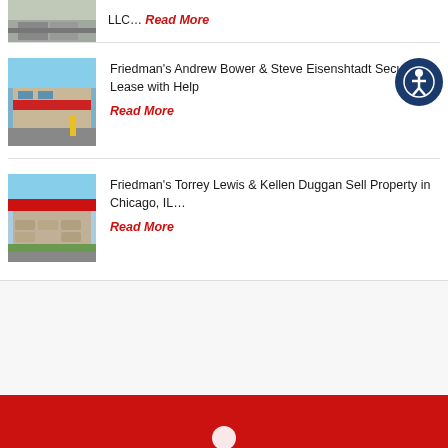[Figure (photo): Partial view of commercial building with parking lot, top of page]
LLC… Read More
[Figure (photo): Commercial retail building with red awning and yellow bollards]
Friedman's Andrew Bower & Steve Eisenshtadt Secure Lease with Help Read More
[Figure (photo): Commercial building with red roof/awning and stone facade]
Friedman's Torrey Lewis & Kellen Duggan Sell Property in Chicago, IL… Read More